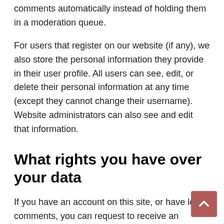comments automatically instead of holding them in a moderation queue.
For users that register on our website (if any), we also store the personal information they provide in their user profile. All users can see, edit, or delete their personal information at any time (except they cannot change their username). Website administrators can also see and edit that information.
What rights you have over your data
If you have an account on this site, or have left comments, you can request to receive an